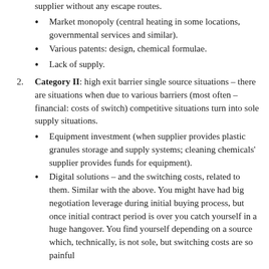supplier without any escape routes.
Market monopoly (central heating in some locations, governmental services and similar).
Various patents: design, chemical formulae.
Lack of supply.
Category II: high exit barrier single source situations – there are situations when due to various barriers (most often – financial: costs of switch) competitive situations turn into sole supply situations.
Equipment investment (when supplier provides plastic granules storage and supply systems; cleaning chemicals' supplier provides funds for equipment).
Digital solutions – and the switching costs, related to them. Similar with the above. You might have had big negotiation leverage during initial buying process, but once initial contract period is over you catch yourself in a huge hangover. You find yourself depending on a source which, technically, is not sole, but switching costs are so painful